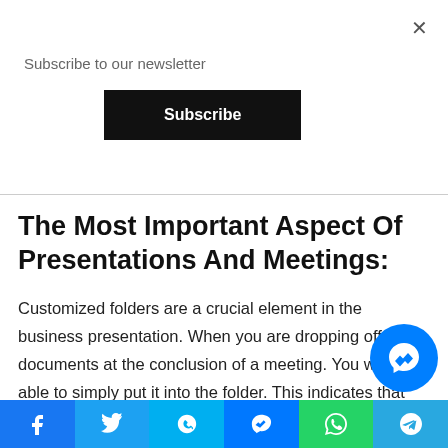Subscribe to our newsletter
The Most Important Aspect Of Presentations And Meetings:
Customized folders are a crucial element in the business presentation. When you are dropping off your documents at the conclusion of a meeting. You will be able to simply put it into the folder. This indicates that you are the ideal person or organization to deal with.
Cost-Effective:
Facebook Twitter Skype Messenger WhatsApp Telegram